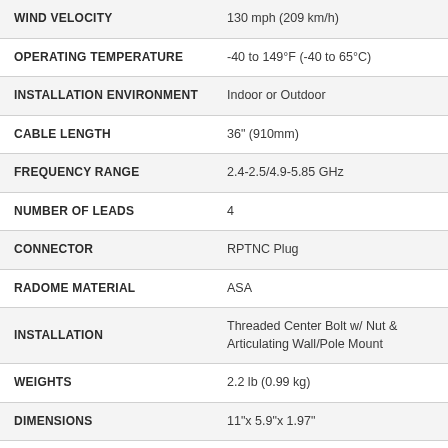| Specification | Value |
| --- | --- |
| WIND VELOCITY | 130 mph (209 km/h) |
| OPERATING TEMPERATURE | -40 to 149°F (-40 to 65°C) |
| INSTALLATION ENVIRONMENT | Indoor or Outdoor |
| CABLE LENGTH | 36" (910mm) |
| FREQUENCY RANGE | 2.4-2.5/4.9-5.85 GHz |
| NUMBER OF LEADS | 4 |
| CONNECTOR | RPTNC Plug |
| RADOME MATERIAL | ASA |
| INSTALLATION | Threaded Center Bolt w/ Nut & Articulating Wall/Pole Mount |
| WEIGHTS | 2.2 lb (0.99 kg) |
| DIMENSIONS | 11"x 5.9"x 1.97" |